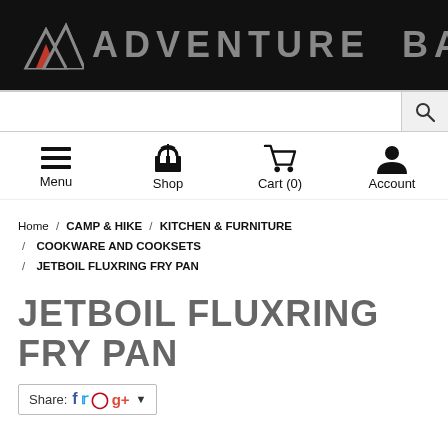ADVENTURE BASE
Search
Menu / Shop / Cart (0) / Account
Home / CAMP & HIKE / KITCHEN & FURNITURE / COOKWARE AND COOKSETS / JETBOIL FLUXRING FRY PAN
JETBOIL FLUXRING FRY PAN
Share: Facebook Twitter Pinterest Google+